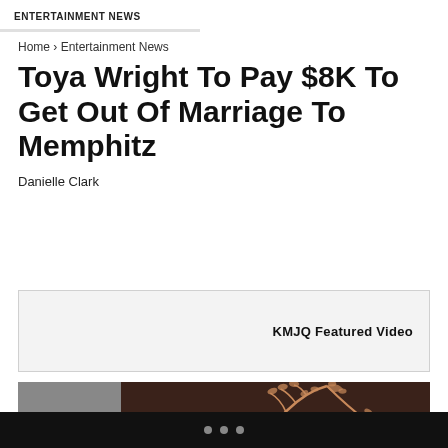ENTERTAINMENT NEWS
Home › Entertainment News
Toya Wright To Pay $8K To Get Out Of Marriage To Memphitz
Danielle Clark
[Figure (other): KMJQ Featured Video box with light gray background]
[Figure (photo): Partial photo showing decorative branch/leaf pattern on dark brown background with a gray panel on the left side]